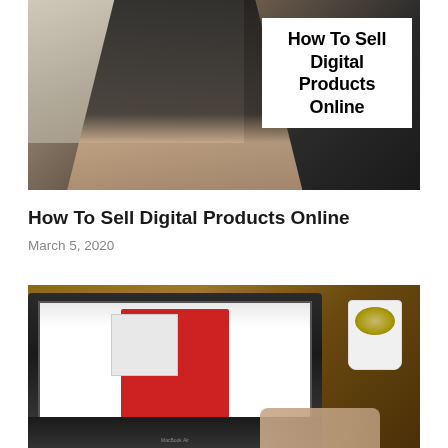[Figure (photo): Person in business attire holding up a white sign with bold text 'How To Sell Digital Products Online' in a room with chairs and a table in the background]
How To Sell Digital Products Online
March 5, 2020
[Figure (photo): Laptop computer on a wooden desk showing a person in a red shirt holding a book in front of their face, with a coffee cup to the right and a hand visible near the keyboard]